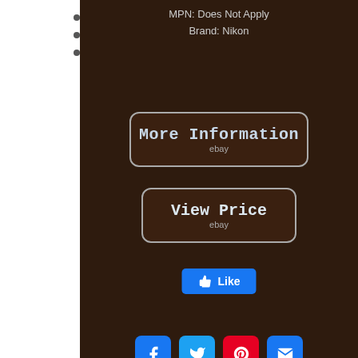MPN: Does Not Apply
Brand: Nikon
[Figure (screenshot): More Information button with ebay label, dark brown rounded rectangle with light blue text]
[Figure (screenshot): View Price button with ebay label, dark brown rounded rectangle with light blue text]
[Figure (screenshot): Facebook Like button in blue]
[Figure (screenshot): Social media share icons: Facebook, Twitter, Pinterest, Email]
[Figure (screenshot): Search bar with text input and Search button]
macro  stereo  100x  objectives  splan
plan  achromatic